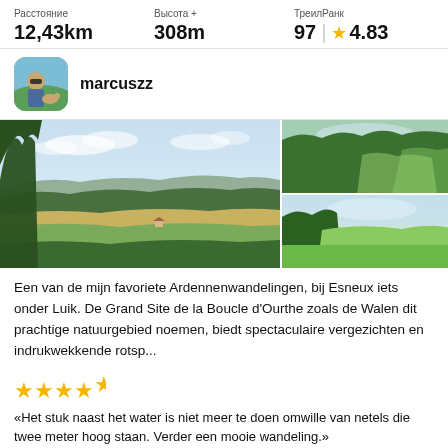Расстояние 12,43km | Высота + 308m | ТреилРанк 97 ★ 4.83
marcuszz
[Figure (photo): Three landscape photos showing rolling green Ardennes hills and meadows near Esneux, Belgium]
Een van de mijn favoriete Ardennenwandelingen, bij Esneux iets onder Luik. De Grand Site de la Boucle d'Ourthe zoals de Walen dit prachtige natuurgebied noemen, biedt spectaculaire vergezichten en indrukwekkende rotsp...
★★★★½
«Het stuk naast het water is niet meer te doen omwille van netels die twee meter hoog staan. Verder een mooie wandeling.»
Dhaese Rudi